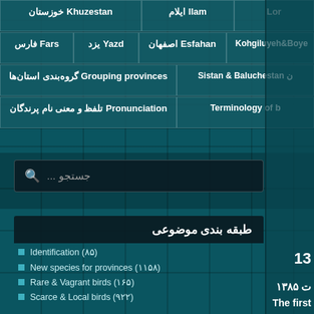خوزستان Khuzestan | ایلام Ilam | Lor...
فارس Fars | یزد Yazd | اصفهان Esfahan | Kohgiluyeh&Boye...
گروه‌بندی استان‌ها Grouping provinces | سیستان Sistan & Baluchestan
تلفظ و معنی نام پرندگان Pronunciation | Terminology of b...
جستجو...
طبقه بندی موضوعی
▪ Identification (۸۵)
▪ New species for provinces (۱۱۵۸)
▪ Rare & Vagrant birds (۱۶۵)
▪ Scarce & Local birds (۹۲۲)
▪ Rare breeding birds (۳۶۸)
▪ Increasing species (۳۴۰)
▪ IUCN Redlist (۱۱۷۱)
۱۳...
ت ۱۳۸۵
The first